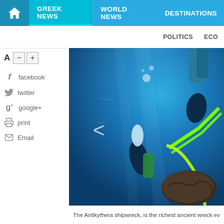GREEK NEWS | WORLD NEWS | DESTINATIONS | POLITICS | ECO
[Figure (photo): Underwater photograph showing scuba divers at the Antikythera shipwreck site, with divers in wetsuits lifting a large encrusted artifact using bright green straps. The water is deep blue and equipment including cylinders is visible.]
The Antikythera shipwreck, is the richest ancient wreck ev